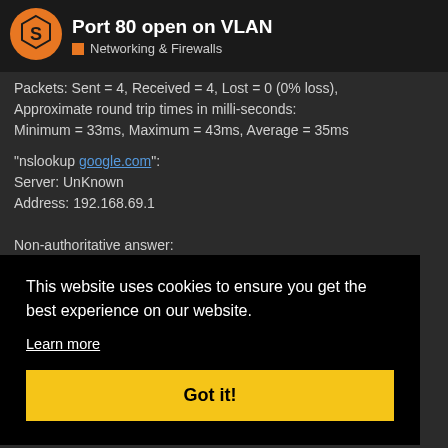Port 80 open on VLAN | Networking & Firewalls
Packets: Sent = 4, Received = 4, Lost = 0 (0% loss),
Approximate round trip times in milli-seconds:
Minimum = 33ms, Maximum = 43ms, Average = 35ms
"nslookup google.com":
Server: UnKnown
Address: 192.168.69.1

Non-authoritative answer:
Name: google.com
This website uses cookies to ensure you get the best experience on our website.
Learn more
Got it!
I am not aware that I can reach websites the VLAN, I'm stumped as to why it wasn't